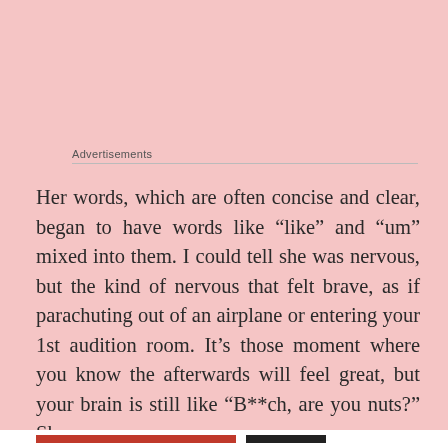Advertisements
Her words, which are often concise and clear, began to have words like “like” and “um” mixed into them. I could tell she was nervous, but the kind of nervous that felt brave, as if parachuting out of an airplane or entering your 1st audition room. It’s those moment where you know the afterwards will feel great, but your brain is still like “B**ch, are you nuts?” She
Privacy & Cookies: This site uses cookies. By continuing to use this website, you agree to their use.
To find out more, including how to control cookies, see here: Cookie Policy
Close and accept